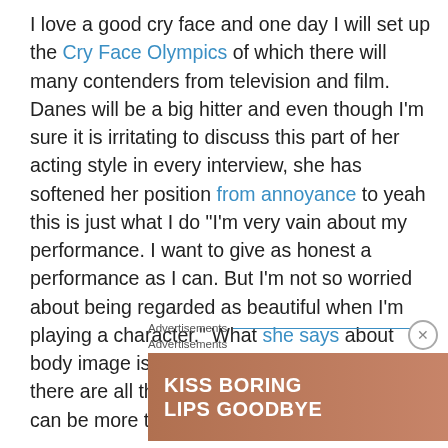I love a good cry face and one day I will set up the Cry Face Olympics of which there will many contenders from television and film. Danes will be a big hitter and even though I'm sure it is irritating to discuss this part of her acting style in every interview, she has softened her position from annoyance to yeah this is just what I do “I’m very vain about my performance. I want to give as honest a performance as I can. But I’m not so worried about being regarded as beautiful when I’m playing a character.” What she says about body image is also pretty inspiring and how there are all these different factors at play. We can be more than one thing.
Advertisements
Advertisements
[Figure (illustration): Advertisement banner for Macy's lipstick product. Shows a woman's face with red lips and text 'KISS BORING LIPS GOODBYE' on the left, and 'SHOP NOW' with Macy's star logo on the right. Brown/tan background.]